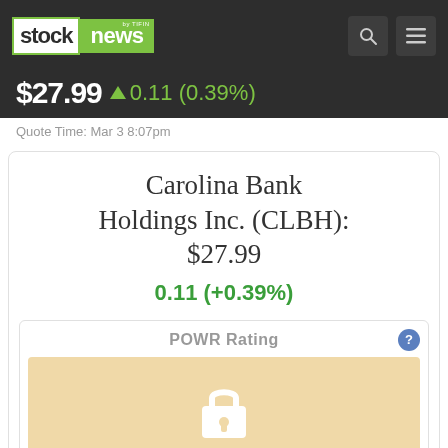stock news by TIFIN
$27.99 ▲ 0.11 (0.39%)
Quote Time: Mar 3 8:07pm
Carolina Bank Holdings Inc. (CLBH): $27.99
0.11 (+0.39%)
POWR Rating
[Figure (illustration): Locked/padlock icon on a tan/gold background indicating gated content]